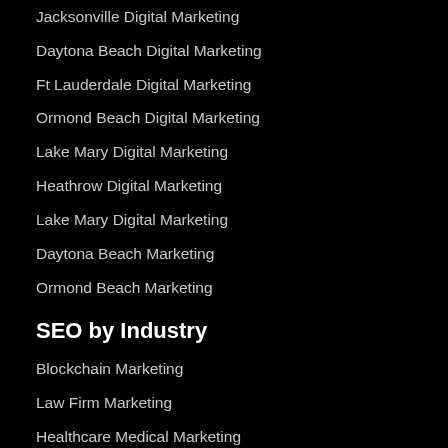Jacksonville Digital Marketing
Daytona Beach Digital Marketing
Ft Lauderdale Digital Marketing
Ormond Beach Digital Marketing
Lake Mary Digital Marketing
Heathrow Digital Marketing
Lake Mary Digital Marketing
Daytona Beach Marketing
Ormond Beach Marketing
SEO by Industry
Blockchain Marketing
Law Firm Marketing
Healthcare Medical Marketing
Dental Practice Marketing